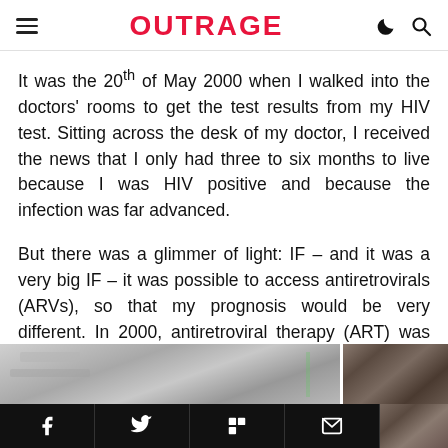OUTRAGE
It was the 20th of May 2000 when I walked into the doctors' rooms to get the test results from my HIV test. Sitting across the desk of my doctor, I received the news that I only had three to six months to live because I was HIV positive and because the infection was far advanced.
But there was a glimmer of light: IF – and it was a very big IF – it was possible to access antiretrovirals (ARVs), so that my prognosis would be very different. In 2000, antiretroviral therapy (ART) was only available in South Africa to the privileged few who could import it privately.
[Figure (photo): Partial photo of a person, visible at the bottom right of the page, appearing in two strips — a wider blurred/grey strip on the left and a person's face on the right.]
Social share bar with Facebook, Twitter, Flipboard, and Email icons